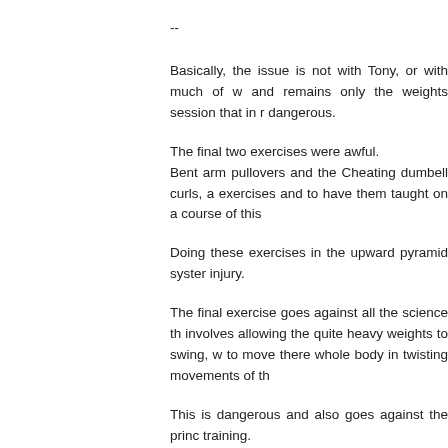--
Basically, the issue is not with Tony, or with much of w and remains only the weights session that in r dangerous.
The final two exercises were awful.
Bent arm pullovers and the Cheating dumbell curls, a exercises and to have them taught on a course of this
Doing these exercises in the upward pyramid syster injury.
The final exercise goes against all the science th involves allowing the quite heavy weights to swing, w to move there whole body in twisting movements of th
This is dangerous and also goes against the princ training.
It should not have been taught, in my opinion.
I was embarrassed to stand there and watch whilst s full of experiences athletes and gym instructors.